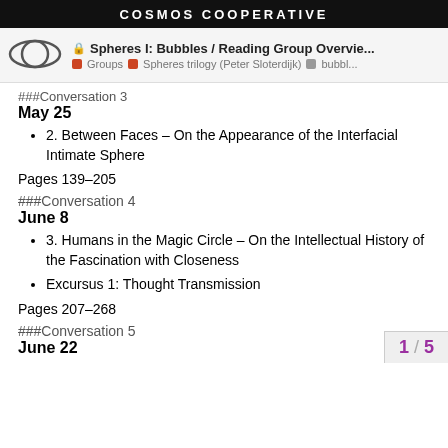COSMOS COOPERATIVE
🔒 Spheres I: Bubbles / Reading Group Overvie...
■ Groups  ■ Spheres trilogy (Peter Sloterdijk)  ■ bubbl...
###Conversation 3
May 25
2. Between Faces – On the Appearance of the Interfacial Intimate Sphere
Pages 139–205
###Conversation 4
June 8
3. Humans in the Magic Circle – On the Intellectual History of the Fascination with Closeness
Excursus 1: Thought Transmission
Pages 207–268
###Conversation 5
June 22
1 / 5